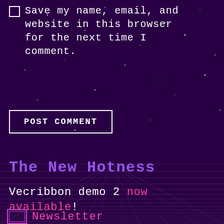Save my name, email, and website in this browser for the next time I comment.
POST COMMENT
The New Hotness
Vecribbon demo 2 now available!
Newsletter